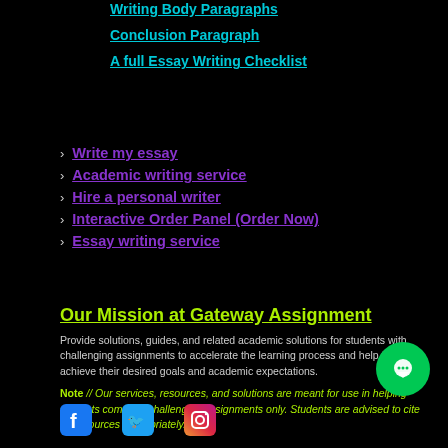Writing Body Paragraphs
Conclusion Paragraph
A full Essay Writing Checklist
Write my essay
Academic writing service
Hire a personal writer
Interactive Order Panel (Order Now)
Essay writing service
Our Mission at Gateway Assignment
Provide solutions, guides, and related academic solutions for students with challenging assignments to accelerate the learning process and help them achieve their desired goals and academic expectations.
Note // Our services, resources, and solutions are meant for use in helping students complete challenging assignments only. Students are advised to cite their sources appropriately.